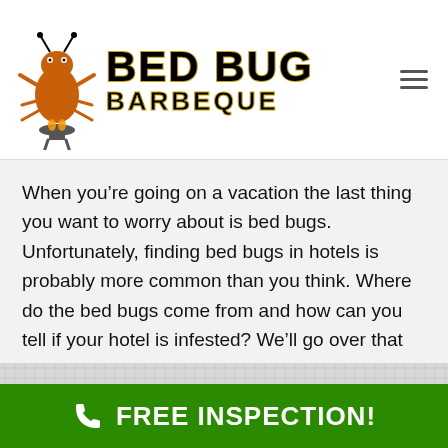[Figure (logo): Bed Bug Barbeque logo with cartoon bug character and bold text reading BED BUG BARBEQUE]
When you’re going on a vacation the last thing you want to worry about is bed bugs. Unfortunately, finding bed bugs in hotels is probably more common than you think. Where do the bed bugs come from and how can you tell if your hotel is infested? We’ll go over that here. Bed Bugs in…
[Figure (photo): Close-up photo of white fabric/textile texture, likely hotel bedding or sheets]
FREE INSPECTION!